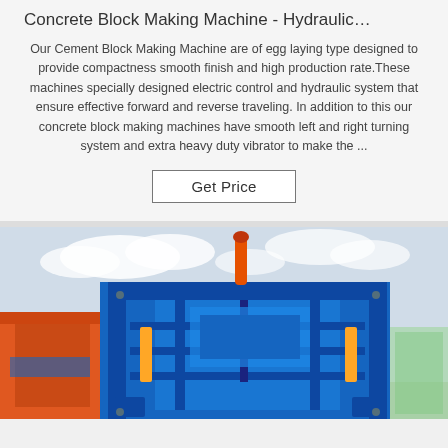Concrete Block Making Machine - Hydraulic…
Our Cement Block Making Machine are of egg laying type designed to provide compactness smooth finish and high production rate.These machines specially designed electric control and hydraulic system that ensure effective forward and reverse traveling. In addition to this our concrete block making machines have smooth left and right turning system and extra heavy duty vibrator to make the ...
Get Price
[Figure (photo): Photo of a large blue concrete block making machine with hydraulic system, orange structure visible in background, outdoor industrial setting with cloudy sky.]